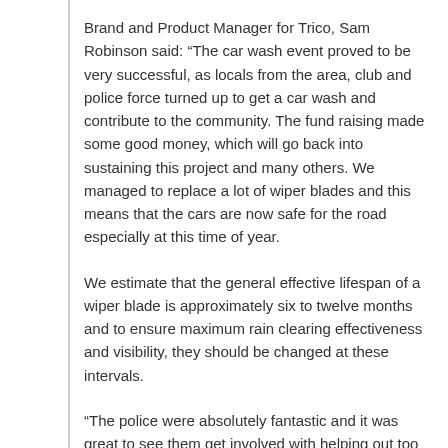Brand and Product Manager for Trico, Sam Robinson said: “The car wash event proved to be very successful, as locals from the area, club and police force turned up to get a car wash and contribute to the community. The fund raising made some good money, which will go back into sustaining this project and many others. We managed to replace a lot of wiper blades and this means that the cars are now safe for the road especially at this time of year.
We estimate that the general effective lifespan of a wiper blade is approximately six to twelve months and to ensure maximum rain clearing effectiveness and visibility, they should be changed at these intervals.
“The police were absolutely fantastic and it was great to see them get involved with helping out too by getting their cars washed and donating to a good cause.”